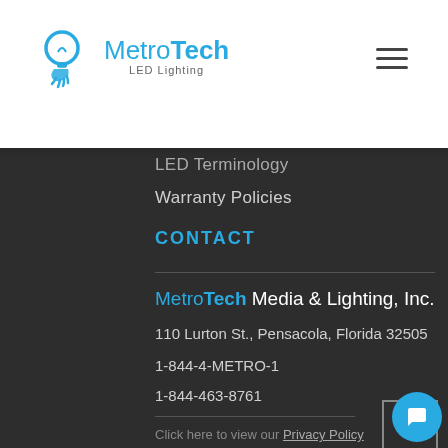MetroTech LED Lighting
LED Terminology
Warranty Policies
CONTACT
MetroTech Media & Lighting, Inc.
110 Lurton St., Pensacola, Florida 32505
1-844-4-METRO-1
1-844-463-8761
Click here to view our Privacy Policy
©2018 MetroTech Media & Lighting, Inc. All Rights Reserved.